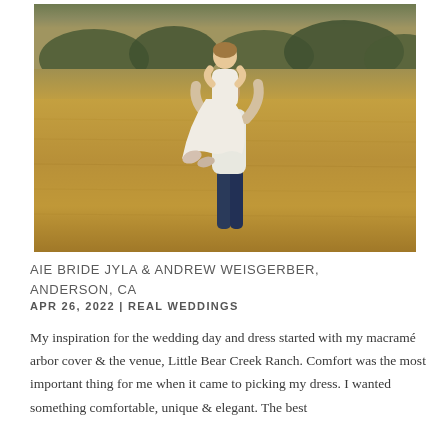[Figure (photo): A groom lifting a bride off the ground in an embrace, kissing, in a golden dry field with trees in the background. The bride wears a white lace dress and the groom wears a white shirt and jeans.]
AIE BRIDE JYLA & ANDREW WEISGERBER, ANDERSON, CA
APR 26, 2022 | REAL WEDDINGS
My inspiration for the wedding day and dress started with my macramé arbor cover & the venue, Little Bear Creek Ranch. Comfort was the most important thing for me when it came to picking my dress. I wanted something comfortable, unique & elegant. The best